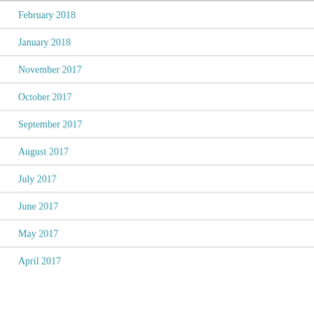February 2018
January 2018
November 2017
October 2017
September 2017
August 2017
July 2017
June 2017
May 2017
April 2017